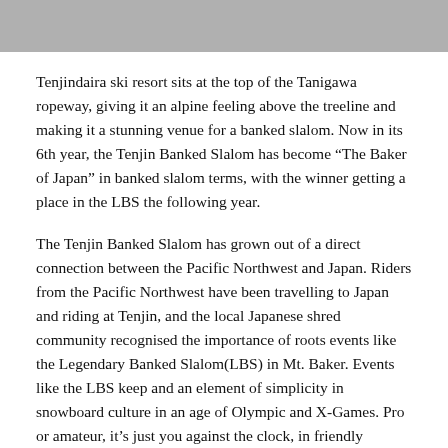Tenjindaira ski resort sits at the top of the Tanigawa ropeway, giving it an alpine feeling above the treeline and making it a stunning venue for a banked slalom. Now in its 6th year, the Tenjin Banked Slalom has become “The Baker of Japan” in banked slalom terms, with the winner getting a place in the LBS the following year.
The Tenjin Banked Slalom has grown out of a direct connection between the Pacific Northwest and Japan. Riders from the Pacific Northwest have been travelling to Japan and riding at Tenjin, and the local Japanese shred community recognised the importance of roots events like the Legendary Banked Slalom(LBS) in Mt. Baker. Events like the LBS keep and an element of simplicity in snowboard culture in an age of Olympic and X-Games. Pro or amateur, it’s just you against the clock, in friendly competition.
Baker has “Say your prayers” but Tenjin has actual blessings